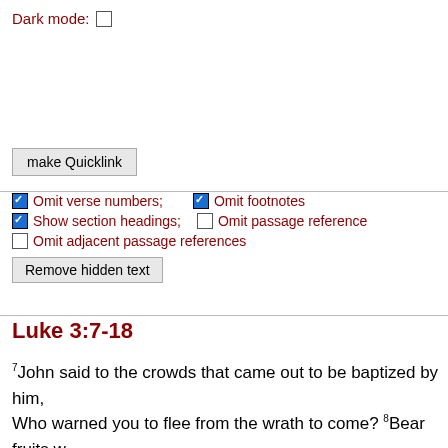Dark mode: [ ]
make Quicklink
[x] Omit verse numbers;  [x] Omit footnotes
[x] Show section headings;  [ ] Omit passage reference
[ ] Omit adjacent passage references
Remove hidden text
Luke 3:7-18
7John said to the crowds that came out to be baptized by him, Who warned you to flee from the wrath to come? 8Bear fruits w Do not begin to say to yourselves, 'We have Abraham as our a God is able from these stones to raise up children to Abraham lying at the root of the trees; every tree therefore that does not